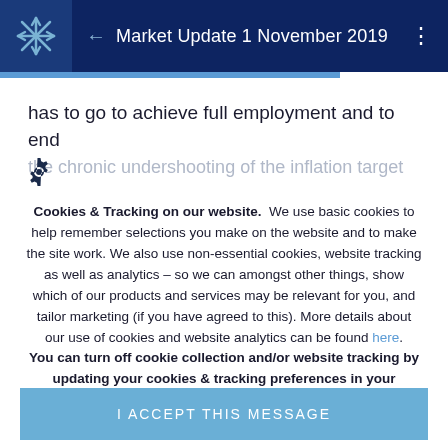Market Update 1 November 2019
has to go to achieve full employment and to end the chronic undershooting of the inflation target
[Figure (other): Gear/settings icon]
Cookies & Tracking on our website. We use basic cookies to help remember selections you make on the website and to make the site work. We also use non-essential cookies, website tracking as well as analytics - so we can amongst other things, show which of our products and services may be relevant for you, and tailor marketing (if you have agreed to this). More details about our use of cookies and website analytics can be found here. You can turn off cookie collection and/or website tracking by updating your cookies & tracking preferences in your browser settings.
I ACCEPT THIS MESSAGE